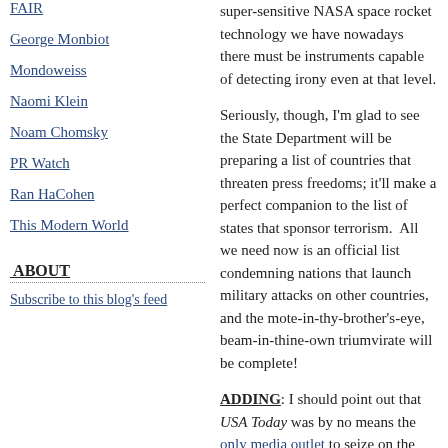FAIR
George Monbiot
Mondoweiss
Naomi Klein
Noam Chomsky
PR Watch
Ran HaCohen
This Modern World
ABOUT
Subscribe to this blog's feed
super-sensitive NASA space rocket technology we have nowadays there must be instruments capable of detecting irony even at that level.
Seriously, though, I'm glad to see the State Department will be preparing a list of countries that threaten press freedoms; it'll make a perfect companion to the list of states that sponsor terrorism.  All we need now is an official list condemning nations that launch military attacks on other countries, and the mote-in-thy-brother's-eye, beam-in-thine-own triumvirate will be complete!
ADDING: I should point out that USA Today was by no means the only media outlet to seize on the one and only noteworthy inconsistency in this official policy statement.
Posted by John Caruso at 05:32 PM | Permalink
COMMENTS